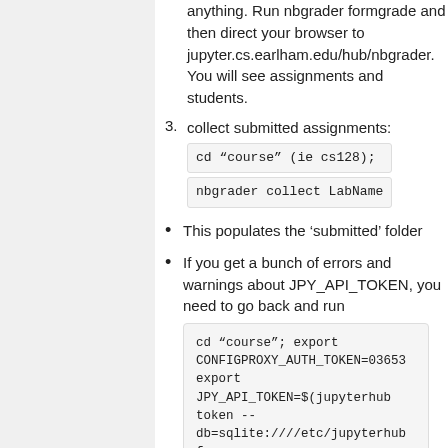anything. Run nbgrader formgrade and then direct your browser to jupyter.cs.earlham.edu/hub/nbgrader. You will see assignments and students.
collect submitted assignments: cd "course" (ie cs128); nbgrader collect LabName
This populates the 'submitted' folder
If you get a bunch of errors and warnings about JPY_API_TOKEN, you need to go back and run
cd "course"; export CONFIGPROXY_AUTH_TOKEN=03653... export JPY_API_TOKEN=$(jupyterhub token -- db=sqlite:////etc/jupyterhub f